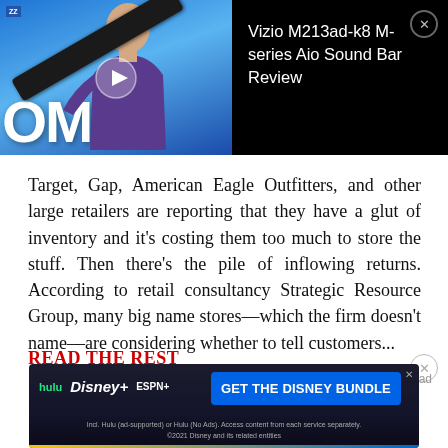[Figure (screenshot): Top advertisement banner: black background with a video thumbnail showing a man holding a soundbar against blue background with 'OMG!' text, and text reading 'Vizio M213ad-k8 M-series Aio Sound Bar Review' in white on right side with close button]
Target, Gap, American Eagle Outfitters, and other large retailers are reporting that they have a glut of inventory and it's costing them too much to store the stuff. Then there's the pile of inflowing returns. According to retail consultancy Strategic Resource Group, many big name stores—which the firm doesn't name—are considering whether to tell customers...
READ THE REST
[Figure (screenshot): Bottom advertisement banner for Disney Bundle showing Hulu, Disney+, and ESPN+ logos on left with 'GET THE DISNEY BUNDLE' button in blue on right, with fine print below]